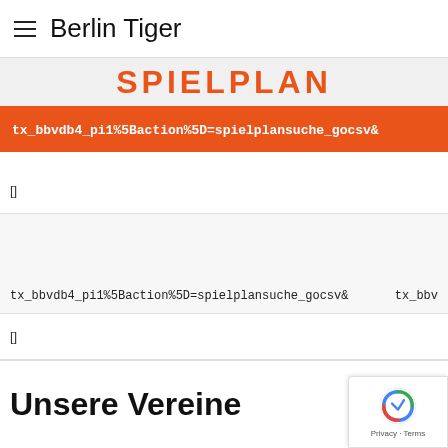Berlin Tiger
SPIELPLAN
tx_bbvdb4_pi1%5Baction%5D=spielplansuche_gocsv&
tx_bbvdb4_pi1%5Baction%5D=spielplansuche_gocsv&    tx_bbv
Unsere Vereine